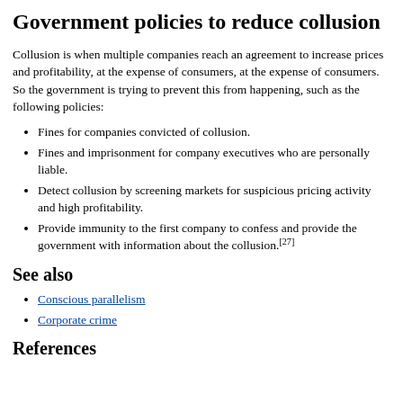Government policies to reduce collusion
Collusion is when multiple companies reach an agreement to increase prices and profitability, at the expense of consumers, at the expense of consumers. So the government is trying to prevent this from happening, such as the following policies:
Fines for companies convicted of collusion.
Fines and imprisonment for company executives who are personally liable.
Detect collusion by screening markets for suspicious pricing activity and high profitability.
Provide immunity to the first company to confess and provide the government with information about the collusion.[27]
See also
Conscious parallelism
Corporate crime
References